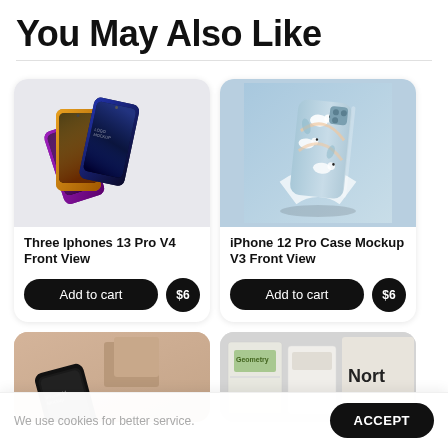You May Also Like
[Figure (photo): Three iPhone 13 Pro phones in dark colorful tones shown front view on light gray background]
Three Iphones 13 Pro V4 Front View
Add to cart
$6
[Figure (photo): iPhone 12 Pro case mockup with bird pattern design on light blue background]
iPhone 12 Pro Case Mockup V3 Front View
Add to cart
$6
[Figure (photo): iPhone mockup on warm beige/brown background with geometric shapes]
[Figure (photo): Geometry and Nort book/box mockups on light gray background]
We use cookies for better service.
ACCEPT